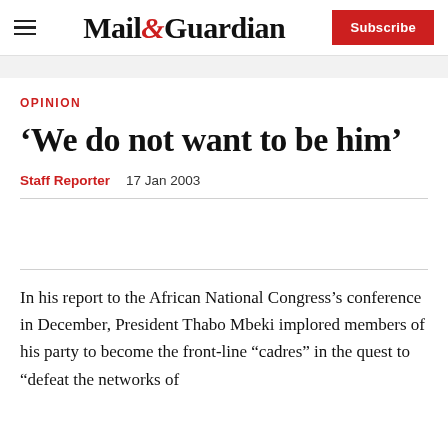Mail&Guardian — Subscribe
OPINION
‘We do not want to be him’
Staff Reporter   17 Jan 2003
In his report to the African National Congress’s conference in December, President Thabo Mbeki implored members of his party to become the front-line “cadres” in the quest to “defeat the networks of